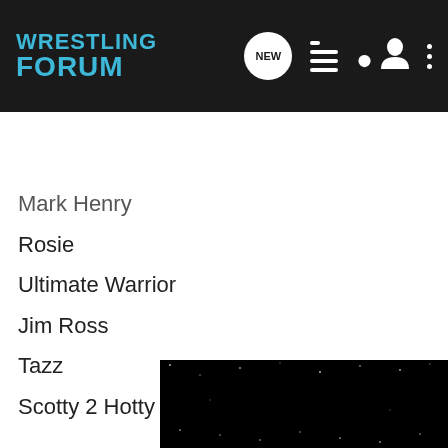WRESTLING FORUM
Mark Henry
Rosie
Ultimate Warrior
Jim Ross
Tazz
Scotty 2 Hotty
RAW
Billy Gunn
HBK
FBI
Ultimo Dragon
Big Show
Kurt Angle
Matt Mo
[Figure (other): Advertisement banner: WWW.AU-AV.COM on a dark starfield background]